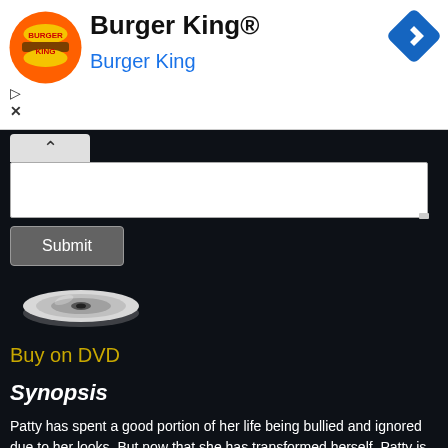[Figure (logo): Burger King advertisement banner with logo, title 'Burger King®', subtitle 'Burger King', navigation arrow icon, and play/close controls]
[Figure (illustration): White text input area with caret/expand button tab, textarea input box, and a Submit button on dark background]
[Figure (illustration): DVD disc image icon on dark background]
Buy on DVD
Synopsis
Patty has spent a good portion of her life being bullied and ignored due to her looks. But now that she has transformed herself, Patty is looking for revenge against anyone who has ever pushed her around.
Bob Armstrong is a disgraced civil lawyer-turned-beauty pageant coach who sees potential in Patty and takes her on